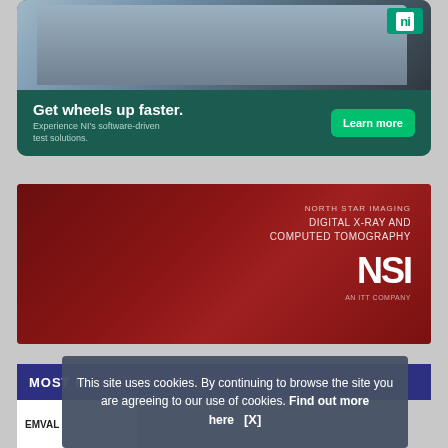[Figure (illustration): NI advertisement with fighter jet pilot in cockpit. Green background with 'Get wheels up faster.' headline and 'Learn more' button. NI logo in top right corner.]
[Figure (illustration): NSI (North Star Imaging) advertisement with dark red background showing industrial parts/components. Text reads 'DIGITAL X-RAY AND COMPUTED TOMOGRAPHY' with NSI logo and 'AN ITT COMPANY' tagline.]
MOST R
EMVAL
This site uses cookies. By continuing to browse the site you are agreeing to our use of cookies. Find out more here  [X]